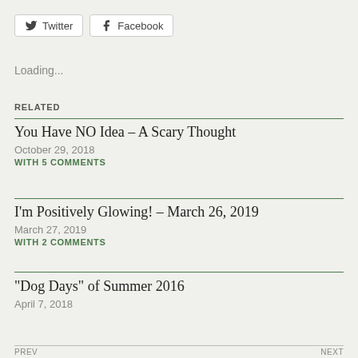[Figure (other): Twitter and Facebook social share buttons]
Loading...
RELATED
You Have NO Idea – A Scary Thought
October 29, 2018
WITH 5 COMMENTS
I'm Positively Glowing! – March 26, 2019
March 27, 2019
WITH 2 COMMENTS
"Dog Days" of Summer 2016
April 7, 2018
PREV   NEXT